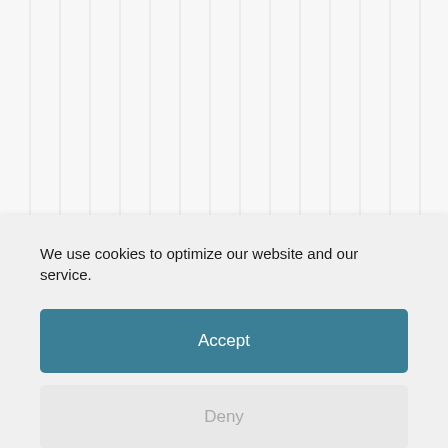[Figure (screenshot): Background chart or graph partially visible behind cookie consent overlay, showing vertical gridlines and axis tick marks on a light grey background. Visible in both top and bottom portions of the page.]
We use cookies to optimize our website and our service.
Accept
Deny
Preferences
Cookie Policy   Privacy Policy